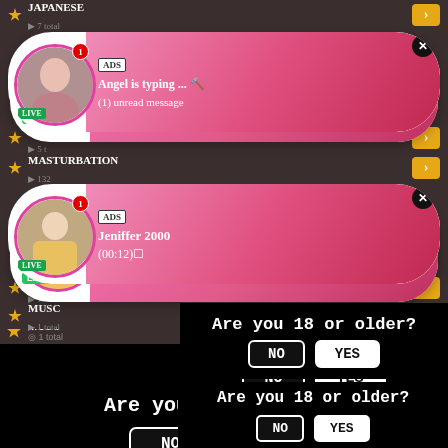[Figure (screenshot): Adult content website category listing with ad popups and age verification overlays]
JAPANESE
7 total
[Figure (infographic): Ad popup: ADS label, Angel is typing ... (1) unread message, with avatar circle showing LIVE badge and notification badge]
MASTURBATION
132
[Figure (infographic): Ad popup: ADS label, Jeniffer 2000, (00:12), with avatar circle showing LIVE badge and notification badge]
MUSC
1 total
Are you 18 or older?
NO
YES
NATURAL
19 total
BBW
100 tot
Are you 18 or older?
NO
YES
OILED
7 total